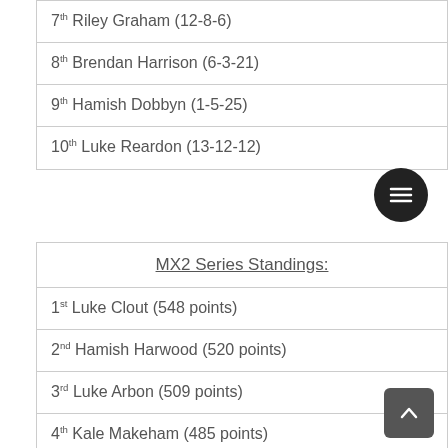7th Riley Graham (12-8-6)
8th Brendan Harrison (6-3-21)
9th Hamish Dobbyn (1-5-25)
10th Luke Reardon (13-12-12)
MX2 Series Standings:
1st Luke Clout (548 points)
2nd Hamish Harwood (520 points)
3rd Luke Arbon (509 points)
4th Kale Makeham (485 points)
5th Jay Wilson (478 points)